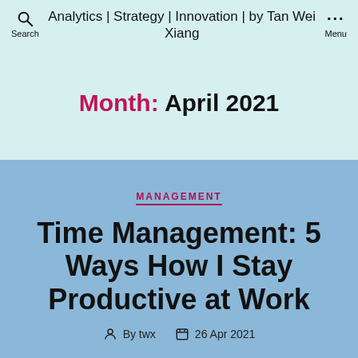Analytics | Strategy | Innovation | by Tan Wei Xiang
Month: April 2021
MANAGEMENT
Time Management: 5 Ways How I Stay Productive at Work
By twx  26 Apr 2021